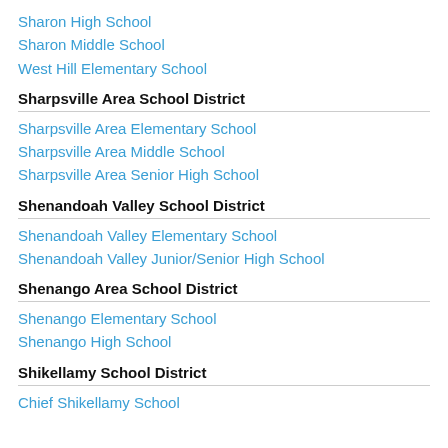Sharon High School
Sharon Middle School
West Hill Elementary School
Sharpsville Area School District
Sharpsville Area Elementary School
Sharpsville Area Middle School
Sharpsville Area Senior High School
Shenandoah Valley School District
Shenandoah Valley Elementary School
Shenandoah Valley Junior/Senior High School
Shenango Area School District
Shenango Elementary School
Shenango High School
Shikellamy School District
Chief Shikellamy School